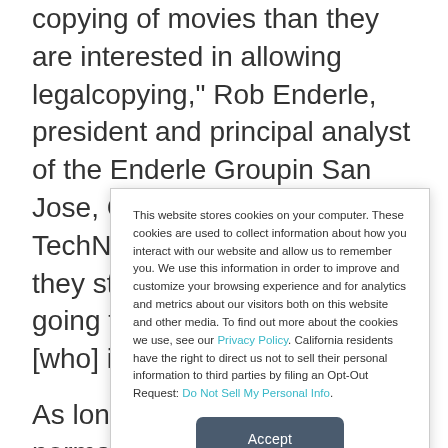copying of movies than they are interested in allowing legalcopying," Rob Enderle, president and principal analyst of the Enderle Groupin San Jose, California, told TechNewsWorld. "As long as they stay that way,they're going to fuel a market of folks [who] illegally copy movies."
As long as a DVD plays normally, copy protection won't be an issue for theaverage consumer, asserted Ted Schadler, a
This website stores cookies on your computer. These cookies are used to collect information about how you interact with our website and allow us to remember you. We use this information in order to improve and customize your browsing experience and for analytics and metrics about our visitors both on this website and other media. To find out more about the cookies we use, see our Privacy Policy. California residents have the right to direct us not to sell their personal information to third parties by filing an Opt-Out Request: Do Not Sell My Personal Info.
Accept